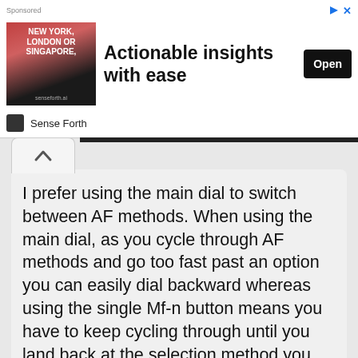[Figure (screenshot): Advertisement banner for 'Sense Forth' featuring a person, text 'NEW YORK, LONDON OR SINGAPORE', headline 'Actionable insights with ease', and an 'Open' button]
I prefer using the main dial to switch between AF methods. When using the main dial, as you cycle through AF methods and go too fast past an option you can easily dial backward whereas using the single Mf-n button means you have to keep cycling through until you land back at the selection method you missed.
Orientation linked AF point
[Figure (screenshot): Camera menu screenshot showing 'Orientation linked AF point' selected with option 'Same for both vert/horiz' and a selection icon]